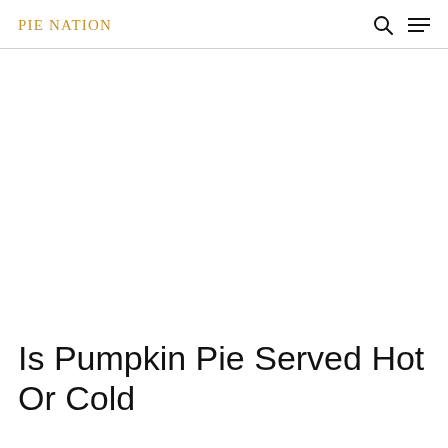PIE NATION
Is Pumpkin Pie Served Hot Or Cold